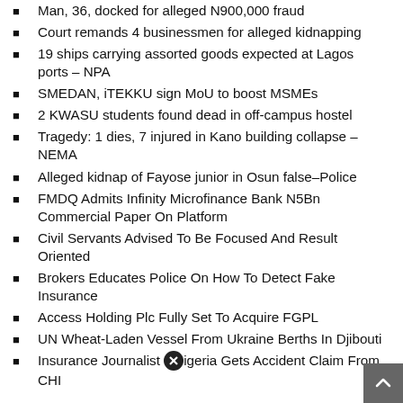Man, 36, docked for alleged N900,000 fraud
Court remands 4 businessmen for alleged kidnapping
19 ships carrying assorted goods expected at Lagos ports – NPA
SMEDAN, iTEKKU sign MoU to boost MSMEs
2 KWASU students found dead in off-campus hostel
Tragedy: 1 dies, 7 injured in Kano building collapse –NEMA
Alleged kidnap of Fayose junior in Osun false–Police
FMDQ Admits Infinity Microfinance Bank N5Bn Commercial Paper On Platform
Civil Servants Advised To Be Focused And Result Oriented
Brokers Educates Police On How To Detect Fake Insurance
Access Holding Plc Fully Set To Acquire FGPL
UN Wheat-Laden Vessel From Ukraine Berths In Djibouti
Insurance Journalist [icon] igeria Gets Accident Claim From CHI